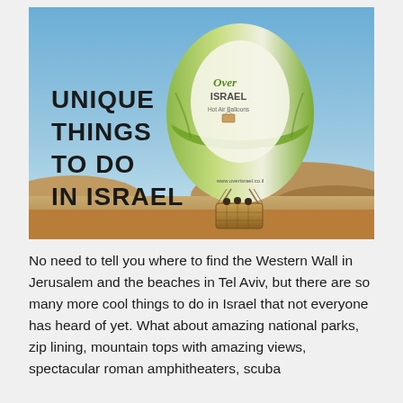[Figure (photo): A hot air balloon branded 'Over Israel Hot Air Balloons' in green and white, floating above a desert landscape with hills in the background under a blue sky. Text on the left reads 'UNIQUE THINGS TO DO IN ISRAEL' in bold black letters.]
No need to tell you where to find the Western Wall in Jerusalem and the beaches in Tel Aviv, but there are so many more cool things to do in Israel that not everyone has heard of yet. What about amazing national parks, zip lining, mountain tops with amazing views, spectacular roman amphitheaters, scuba